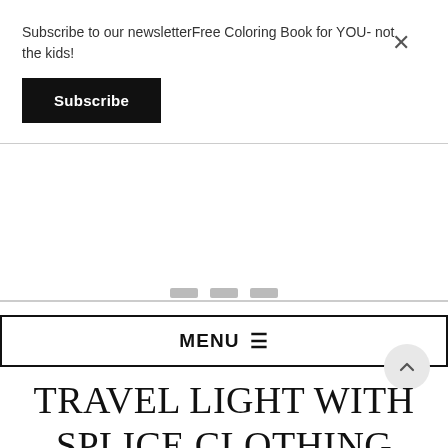Subscribe to our newsletterFree Coloring Book for YOU- not the kids!
Subscribe
MENU ☰
TRAVEL LIGHT WITH SPLICE CLOTHING #TRAVEL #CLOTHING #REVIEW